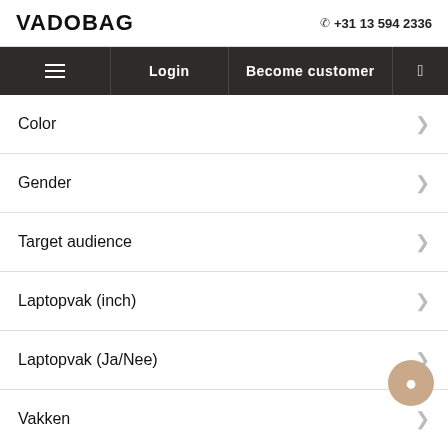VADOBAG  +31 13 594 2336
Login  Become customer
Color
Gender
Target audience
Laptopvak (inch)
Laptopvak (Ja/Nee)
Vakken
Lining
Vakken